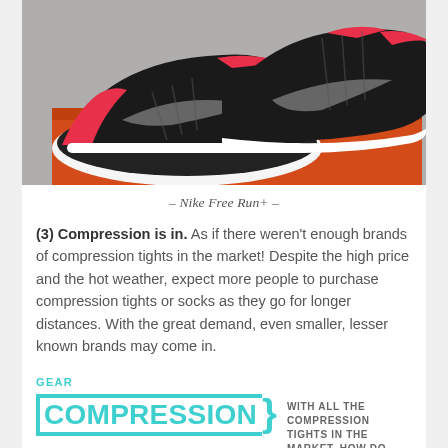[Figure (photo): Photo of a pair of black and red/pink Nike Free Run+ sneakers resting on an orange Nike shoebox, against a light gray background.]
– Nike Free Run+ –
(3) Compression is in. As if there weren't enough brands of compression tights in the market! Despite the high price and the hot weather, expect more people to purchase compression tights or socks as they go for longer distances. With the great demand, even smaller, lesser known brands may come in.
GEAR
[Figure (infographic): Partial infographic with the word COMPRESSION in large teal/cyan letters with bracket-style border on the left, and text on the right reading 'WITH ALL THE COMPRESSION TIGHTS IN THE MARKET, how do' (cut off).]